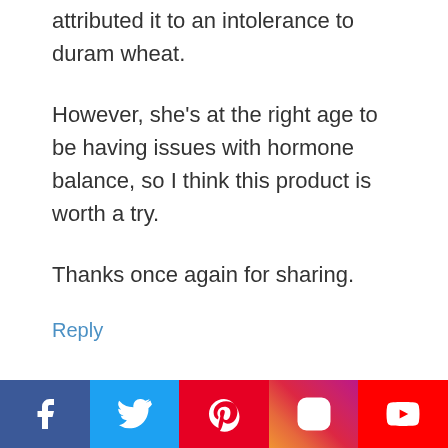attributed it to an intolerance to duram wheat.
However, she’s at the right age to be having issues with hormone balance, so I think this product is worth a try.
Thanks once again for sharing.
Reply
Alyse S
[Figure (infographic): Social media share bar at bottom with Facebook, Twitter, Pinterest, Instagram, YouTube icons]